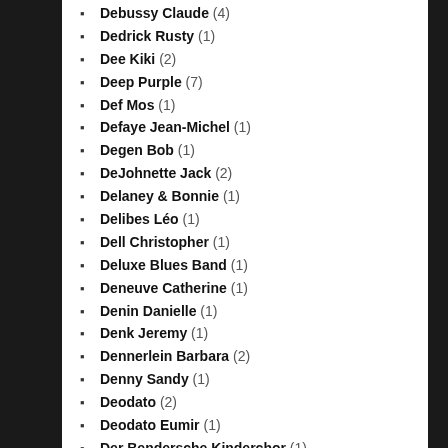Debussy Claude (4)
Dedrick Rusty (1)
Dee Kiki (2)
Deep Purple (7)
Def Mos (1)
Defaye Jean-Michel (1)
Degen Bob (1)
DeJohnette Jack (2)
Delaney & Bonnie (1)
Delibes Léo (1)
Dell Christopher (1)
Deluxe Blues Band (1)
Deneuve Catherine (1)
Denin Danielle (1)
Denk Jeremy (1)
Dennerlein Barbara (2)
Denny Sandy (1)
Deodato (2)
Deodato Eumir (1)
Der Bendersche Kinderchor (1)
Derek And The Dominos (2)
Derek Trucks Band (1)